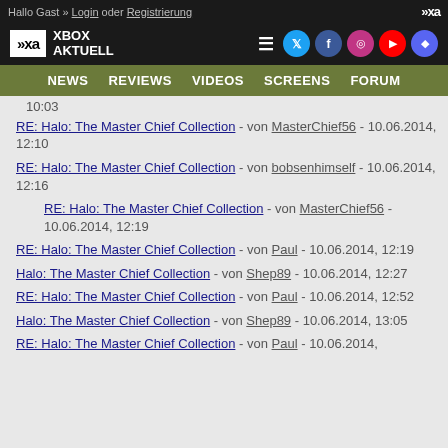Hallo Gast » Login oder Registrierung
[Figure (logo): Xbox Aktuell logo and navigation header with social media icons]
NEWS  REVIEWS  VIDEOS  SCREENS  FORUM
10:03
RE: Halo: The Master Chief Collection - von MasterChief56 - 10.06.2014, 12:10
RE: Halo: The Master Chief Collection - von bobsenhimself - 10.06.2014, 12:16
RE: Halo: The Master Chief Collection - von MasterChief56 - 10.06.2014, 12:19
RE: Halo: The Master Chief Collection - von Paul - 10.06.2014, 12:19
Halo: The Master Chief Collection - von Shep89 - 10.06.2014, 12:27
RE: Halo: The Master Chief Collection - von Paul - 10.06.2014, 12:52
Halo: The Master Chief Collection - von Shep89 - 10.06.2014, 13:05
RE: Halo: The Master Chief Collection - von Paul - 10.06.2014,